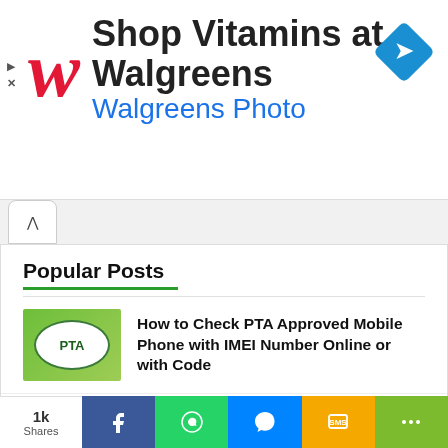[Figure (screenshot): Walgreens advertisement banner with italic red W logo, text 'Shop Vitamins at Walgreens' and 'Walgreens Photo' in blue, and a blue navigation diamond icon.]
Popular Posts
How to Check PTA Approved Mobile Phone with IMEI Number Online or with Code
Meezan Bank Swift Code | What is Swift BIC Code of Meezan Bank
Story of NOKIA - How and why Nokia failed and its comeback
1k Shares